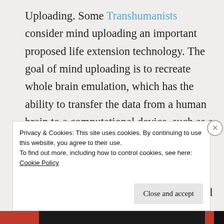Uploading. Some Transhumanists consider mind uploading an important proposed life extension technology. The goal of mind uploading is to recreate whole brain emulation, which has the ability to transfer the data from a human brain to a computational device, such as a digital, analog, quantum-based or software-based artificial neural network. Then from quantum computers, the brain that was mind uploaded can be controlled or manipulated in subspace. Many scientists believe
Privacy & Cookies: This site uses cookies. By continuing to use this website, you agree to their use.
To find out more, including how to control cookies, see here: Cookie Policy
Close and accept